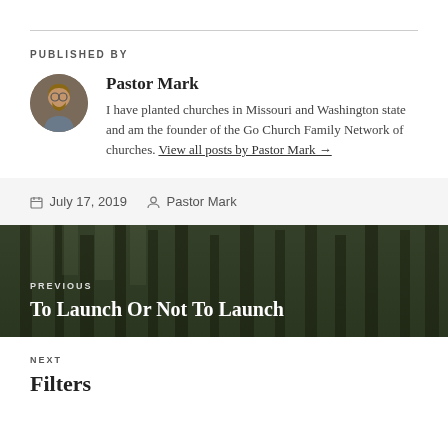PUBLISHED BY
[Figure (photo): Circular avatar photo of Pastor Mark, a man with glasses and beard]
Pastor Mark
I have planted churches in Missouri and Washington state and am the founder of the Go Church Family Network of churches. View all posts by Pastor Mark →
July 17, 2019   Pastor Mark
[Figure (photo): Forest photo background showing tall pine trees against sky, used as background for Previous post navigation]
PREVIOUS
To Launch Or Not To Launch
NEXT
Filters